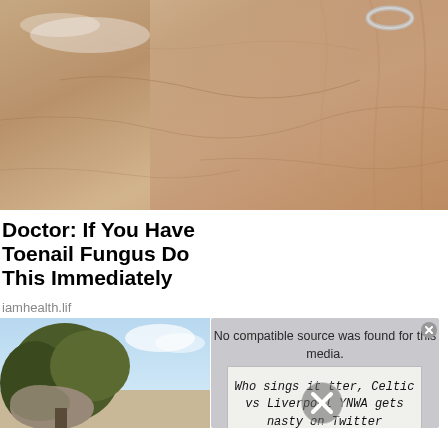[Figure (photo): Close-up photo of human skin (hand/foot area) showing skin texture and veins, with a ring visible at the top]
Doctor: If You Have Toenail Fungus Do This Immediately
iamhealth.lif
[Figure (photo): Outdoor photo with tree and sky visible in bottom left]
[Figure (screenshot): Video player modal overlay showing 'No compatible source was found for this media.' with a card image underneath showing text 'Who sings it tter, Celtic vs Liverpool YNWA gets nasty on Twitter' and an X/close button overlay]
No compatible source was found for this media.
Who sings it tter, Celtic vs Liverpool YNWA gets nasty on Twitter